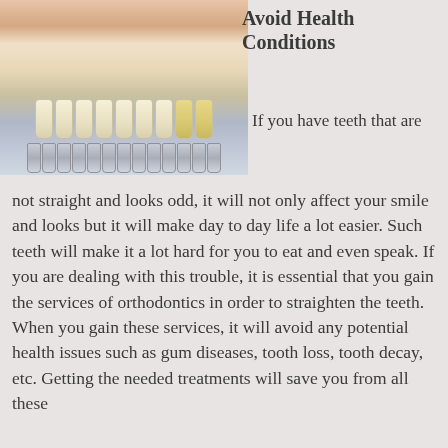[Figure (photo): Close-up photo of a person's teeth being compared to a dental shade guide with multiple tooth-colored tabs]
Avoid Health Conditions
If you have teeth that are not straight and looks odd, it will not only affect your smile and looks but it will make day to day life a lot easier. Such teeth will make it a lot hard for you to eat and even speak. If you are dealing with this trouble, it is essential that you gain the services of orthodontics in order to straighten the teeth. When you gain these services, it will avoid any potential health issues such as gum diseases, tooth loss, tooth decay, etc. Getting the needed treatments will save you from all these